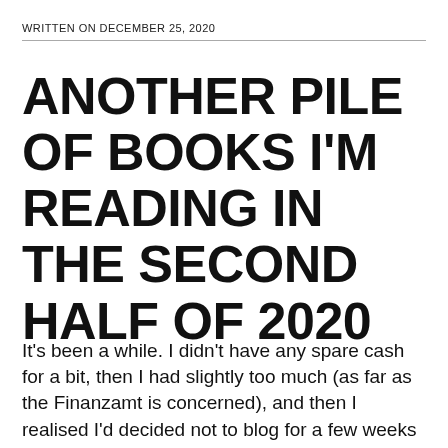WRITTEN ON DECEMBER 25, 2020
ANOTHER PILE OF BOOKS I'M READING IN THE SECOND HALF OF 2020
It's been a while. I didn't have any spare cash for a bit, then I had slightly too much (as far as the Finanzamt is concerned), and then I realised I'd decided not to blog for a few weeks (thanks pandemic and enragingly piss poor response by Berlin, Germany, Europe, and so